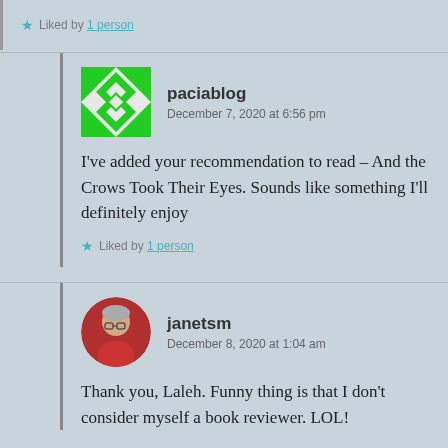Liked by 1 person
paciablog
December 7, 2020 at 6:56 pm
I've added your recommendation to read – And the Crows Took Their Eyes. Sounds like something I'll definitely enjoy
Liked by 1 person
janetsm
December 8, 2020 at 1:04 am
Thank you, Laleh. Funny thing is that I don't consider myself a book reviewer. LOL!